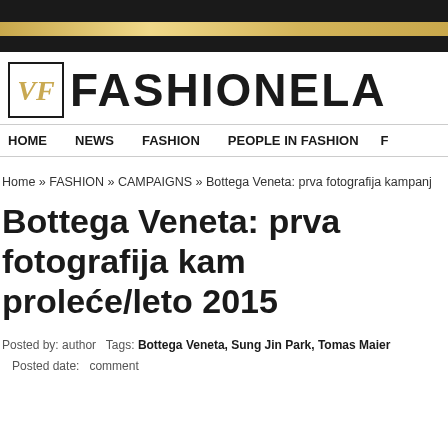[Figure (logo): Fashionela website logo with VF monogram in a square border and the text FASHIONELA]
HOME   NEWS   FASHION   PEOPLE IN FASHION   F
Home » FASHION » CAMPAIGNS » Bottega Veneta: prva fotografija kampanj
Bottega Veneta: prva fotografija kam proleće/leto 2015
Posted by: author   Tags: Bottega Veneta, Sung Jin Park, Tomas Maier   Posted date:   comment